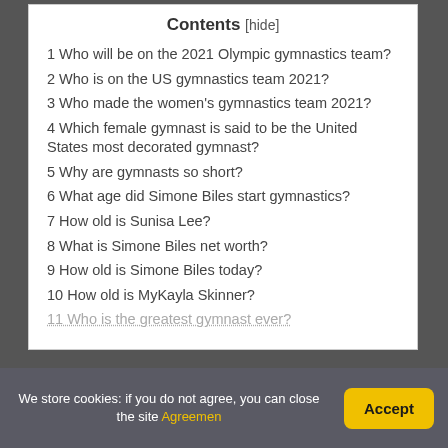Contents [hide]
1 Who will be on the 2021 Olympic gymnastics team?
2 Who is on the US gymnastics team 2021?
3 Who made the women's gymnastics team 2021?
4 Which female gymnast is said to be the United States most decorated gymnast?
5 Why are gymnasts so short?
6 What age did Simone Biles start gymnastics?
7 How old is Sunisa Lee?
8 What is Simone Biles net worth?
9 How old is Simone Biles today?
10 How old is MyKayla Skinner?
11 Who is the greatest gymnast ever?
We store cookies: if you do not agree, you can close the site Agreemen